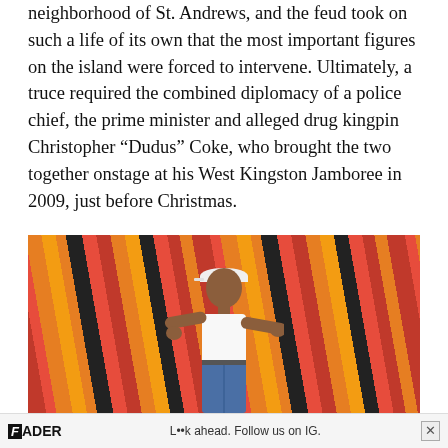neighborhood of St. Andrews, and the feud took on such a life of its own that the most important figures on the island were forced to intervene. Ultimately, a truce required the combined diplomacy of a police chief, the prime minister and alleged drug kingpin Christopher “Dudus” Coke, who brought the two together onstage at his West Kingston Jamboree in 2009, just before Christmas.
[Figure (photo): A person wearing a white tank top, white cap, and jeans stands with arms spread wide in front of a colorful draped fabric background with red, orange, yellow, and black stripes fanning outward.]
[Figure (other): Advertisement banner for FADER magazine showing two women with curly hair and the text 'L..k ahead. Follow us on IG.' with an X close button.]